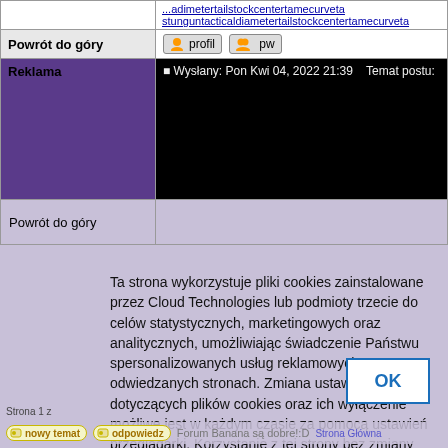|  | ...adimetertailstockcentertamecurveta stunguntacticaldiametertailstockcentertamecurveta |
| Powrót do góry | [profil] [pw] |
| Reklama | Wysłany: Pon Kwi 04, 2022 21:39   Temat postu: |
| Powrót do góry |  |
Ta strona wykorzystuje pliki cookies zainstalowane przez Cloud Technologies lub podmioty trzecie do celów statystycznych, marketingowych oraz analitycznych, umożliwiając świadczenie Państwu spersonalizowanych usług reklamowych na odwiedzanych stronach. Zmiana ustawień dotyczących plików cookies oraz ich wyłączenie możliwe jest w każdym czasie za pomocą ustawień przeglądarki. Korzystanie z tej strony bez zmiany ustawień dotyczących plików cookies oznacza, że pliki cookies będą umieszczane w Państwa urządzeniu końcowym. Więcej informacji dotyczących wykorzystania plików cookies znajdziecie Państwo w naszej Polityce Prywatności.
Strona 1 z ...   Forum Banana są dobre!:D Strona Główna